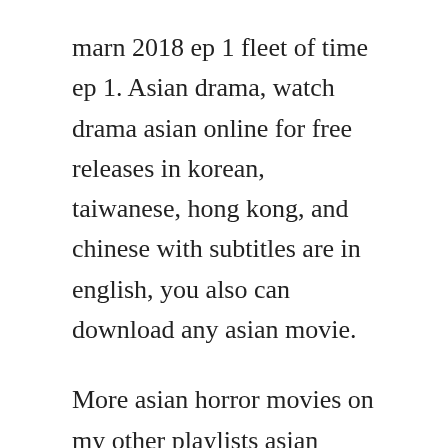marn 2018 ep 1 fleet of time ep 1. Asian drama, watch drama asian online for free releases in korean, taiwanese, hong kong, and chinese with subtitles are in english, you also can download any asian movie.
More asian horror movies on my other playlists asian horror movies and more asian horror movies. Inthira charoenpura in nang nak 1999 inthira charoenpura and winai kraibutr in nang nak. Seventeenyearold apiradee anothai, nicknamed nang, is send away to penang, malaysia, to attend to an